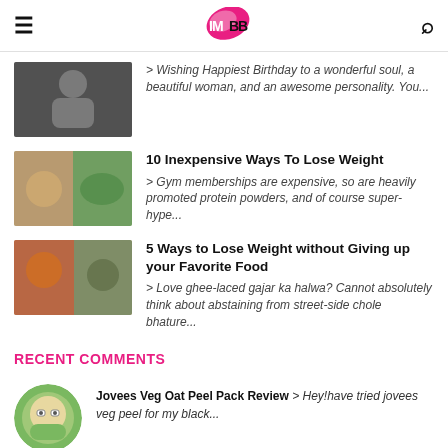IMBB
> Wishing Happiest Birthday to a wonderful soul, a beautiful woman, and an awesome personality. You...
10 Inexpensive Ways To Lose Weight
> Gym memberships are expensive, so are heavily promoted protein powders, and of course super-hype...
5 Ways to Lose Weight without Giving up your Favorite Food
> Love ghee-laced gajar ka halwa? Cannot absolutely think about abstaining from street-side chole bhature...
RECENT COMMENTS
Jovees Veg Oat Peel Pack Review > Hey!have tried jovees veg peel for my black...
How to Color Your Hair Naturally at Home > Great tips ..beet root one is really interesting...